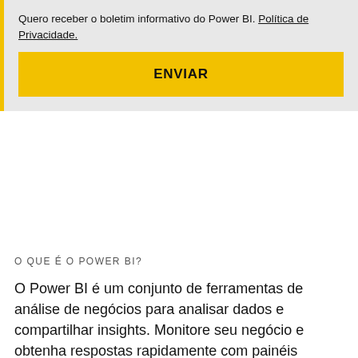Quero receber o boletim informativo do Power BI. Política de Privacidade.
ENVIAR
O QUE É O POWER BI?
O Power BI é um conjunto de ferramentas de análise de negócios para analisar dados e compartilhar insights. Monitore seu negócio e obtenha respostas rapidamente com painéis avançados disponíveis em cada dispositivo.